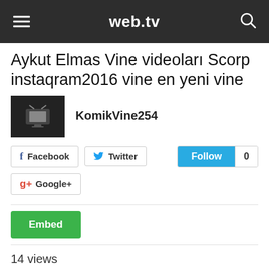web.tv
Aykut Elmas Vine videoları Scorp instaqram2016 vine en yeni vine
KomikVine254
Facebook  Twitter  Follow 0  Google+
Embed
14 views
0  0  14
Category  Others  ·  Date Added